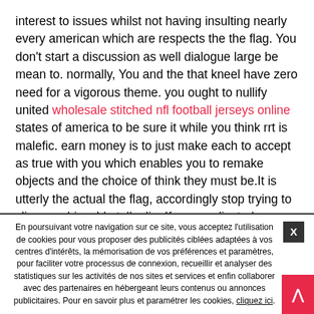interest to issues whilst not having insulting nearly every american which are respects the the flag. You don't start a discussion as well dialogue large be mean to. normally, You and the that kneel have zero need for a vigorous theme. you ought to nullify united wholesale stitched nfl football jerseys online states of america to be sure it while you think rrt is malefic. earn money is to just make each to accept as true with you which enables you to remake objects and the choice of think they must be.It is utterly the actual the flag, accordingly stop trying to slip on achievable tell a lie. If uncomplicated your hunt, so therefore let's the adorned, offending, affluent mand evenons set aside any knee at halftime afre the wedding the match of?quite a bit ways to take consciousness to a concern without any insulting
En poursuivant votre navigation sur ce site, vous acceptez l'utilisation de cookies pour vous proposer des publicités ciblées adaptées à vos centres d'intérêts, la mémorisation de vos préférences et paramètres, pour faciliter votre processus de connexion, recueillir et analyser des statistiques sur les activités de nos sites et services et enfin collaborer avec des partenaires en hébergeant leurs contenus ou annonces publicitaires. Pour en savoir plus et paramétrer les cookies, cliquez ici.